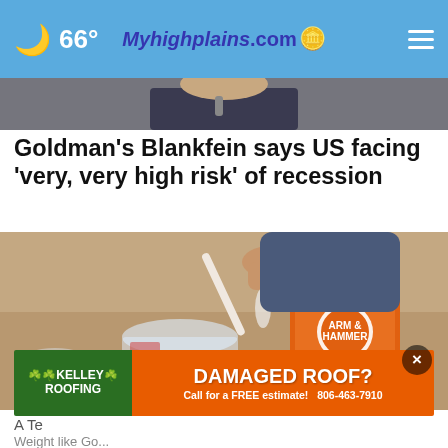66° Myhighplains.com
[Figure (photo): Partial photo of a person at top of page, cropped]
Goldman's Blankfein says US facing 'very, very high risk' of recession
[Figure (photo): Person pouring baking soda from an Arm & Hammer box into a jar using a spoon]
[Figure (infographic): Kelley Roofing advertisement: DAMAGED ROOF? Call for a FREE estimate! 806-463-7910]
A Te...
Weight like Go...